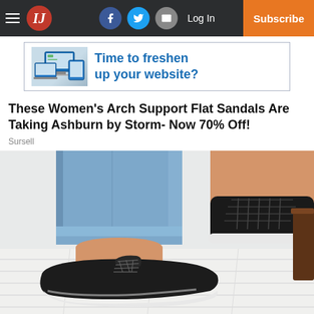IJ | Log In | Subscribe | Facebook | Twitter | Email
[Figure (screenshot): Ad banner: laptop/devices image with text 'Time to freshen up your website?']
These Women's Arch Support Flat Sandals Are Taking Ashburn by Storm- Now 70% Off!
Sursell
[Figure (photo): Close-up photo of a person wearing blue jeans and black lace-up sneakers with white soles, on a white wooden floor]
[Figure (screenshot): Ad banner: laptop/devices image with text 'Time to freshen up your website?']